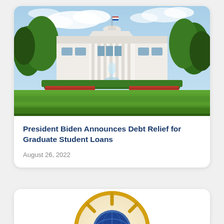[Figure (photo): Photograph of the White House south facade with green lawn in the foreground, red flower beds, hedges, and trees, under a bright blue sky with light clouds.]
President Biden Announces Debt Relief for Graduate Student Loans
August 26, 2022
[Figure (photo): Partial view of a circular emblem or seal with gold ornamental design, partially cropped at the bottom of the page.]